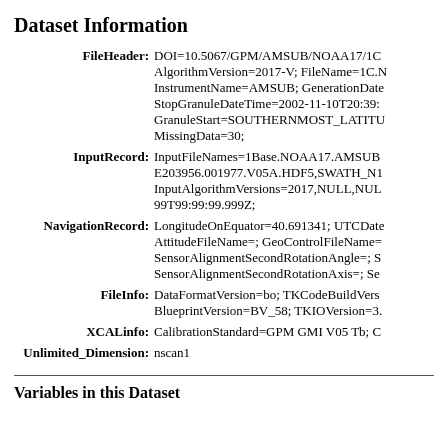Dataset Information
| FileHeader | DOI=10.5067/GPM/AMSUB/NOAA17/1C... AlgorithmVersion=2017-V; FileName=1C.N... InstrumentName=AMSUB; GenerationDate... StopGranuleDateTime=2002-11-10T20:39:... GranuleStart=SOUTHERNMOST_LATITU... MissingData=30; |
| InputRecord | InputFileNames=1Base.NOAA17.AMSUB... E203956.001977.V05A.HDF5,SWATH_N1... InputAlgorithmVersions=2017,NULL,NUL... 99T99:99:99.999Z; |
| NavigationRecord | LongitudeOnEquator=40.691341; UTCDate... AttitudeFileName=; GeoControlFileName=... SensorAlignmentSecondRotationAngle=; S... SensorAlignmentSecondRotationAxis=; Se... |
| FileInfo | DataFormatVersion=bo; TKCodeBuildVers... BlueprintVersion=BV_58; TKIOVersion=3.... |
| XCALinfo | CalibrationStandard=GPM GMI V05 Tb; C... |
| Unlimited_Dimension | nscan1 |
Variables in this Dataset